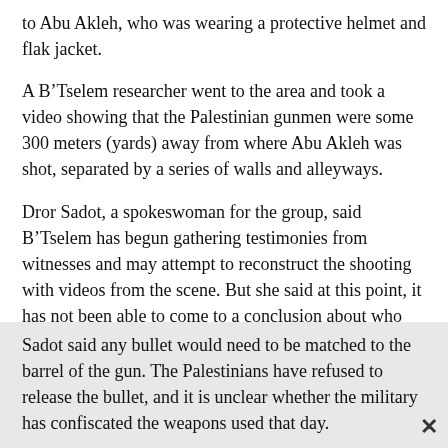to Abu Akleh, who was wearing a protective helmet and flak jacket.
A B’Tselem researcher went to the area and took a video showing that the Palestinian gunmen were some 300 meters (yards) away from where Abu Akleh was shot, separated by a series of walls and alleyways.
Dror Sadot, a spokeswoman for the group, said B’Tselem has begun gathering testimonies from witnesses and may attempt to reconstruct the shooting with videos from the scene. But she said at this point, it has not been able to come to a conclusion about who was behind the shooting.
Sadot said any bullet would need to be matched to the barrel of the gun. The Palestinians have refused to release the bullet, and it is unclear whether the military has confiscated the weapons used that day.